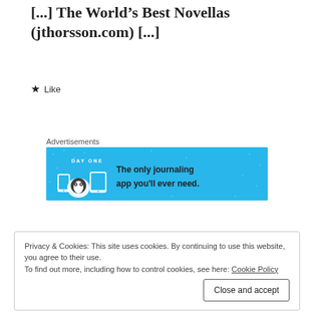[...] The World's Best Novellas (jthorsson.com) [...]
★ Like
Advertisements
[Figure (illustration): Day One journaling app advertisement banner with blue background showing app icons and text 'The only journaling app you'll ever need.']
Privacy & Cookies: This site uses cookies. By continuing to use this website, you agree to their use.
To find out more, including how to control cookies, see here: Cookie Policy
Close and accept